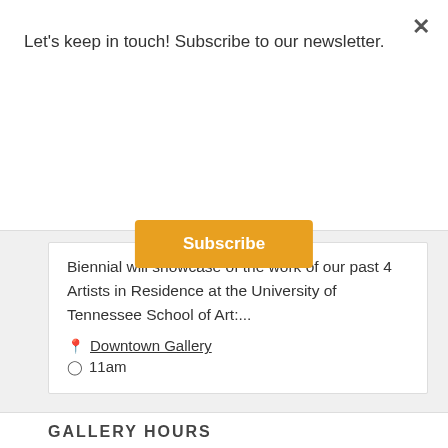Let's keep in touch! Subscribe to our newsletter.
Subscribe
Biennial will showcase of the work of our past 4 Artists in Residence at the University of Tennessee School of Art:...
Downtown Gallery
11am
GALLERY HOURS